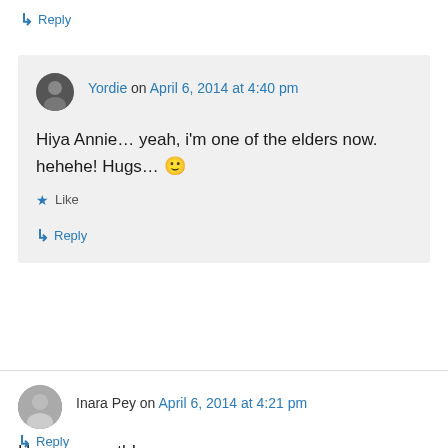↳ Reply
Yordie on April 6, 2014 at 4:40 pm
Hiya Annie… yeah, i'm one of the elders now. hehehe! Hugs… 🙂
★ Like
↳ Reply
Inara Pey on April 6, 2014 at 4:21 pm
Happy seventh!
★ Like
↳ Reply